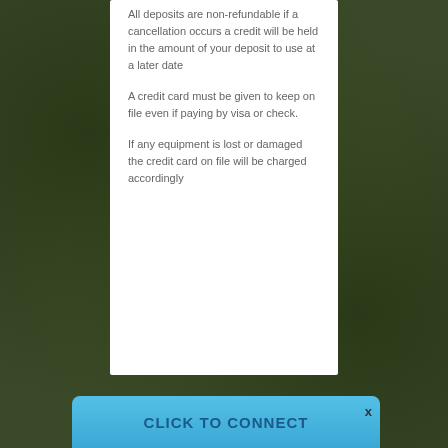All deposits are non-refundable if a cancellation occurs a credit will be held in the amount of your deposit to use at a later date
A credit card must be given to keep on file even if paying by visa or check.
If any equipment is lost or damaged the credit card on file will be charged accordingly
CLICK TO CONNECT